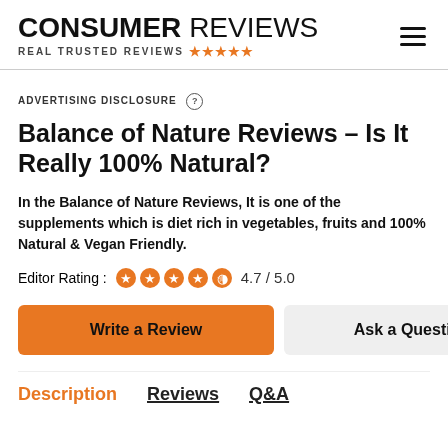CONSUMER REVIEWS — REAL TRUSTED REVIEWS — hamburger menu
ADVERTISING DISCLOSURE
Balance of Nature Reviews – Is It Really 100% Natural?
In the Balance of Nature Reviews, It is one of the supplements which is diet rich in vegetables, fruits and 100% Natural & Vegan Friendly.
Editor Rating : 4.7 / 5.0
Write a Review | Ask a Question
Description   Reviews   Q&A